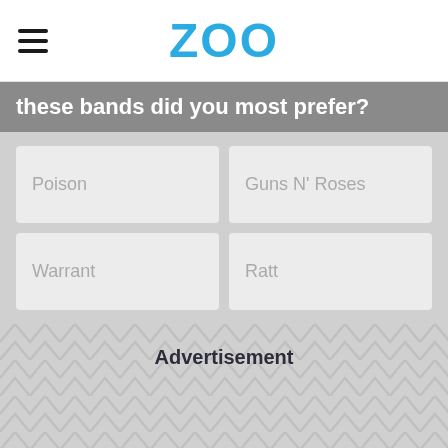ZOO
these bands did you most prefer?
Poison
Guns N' Roses
Warrant
Ratt
Advertisement